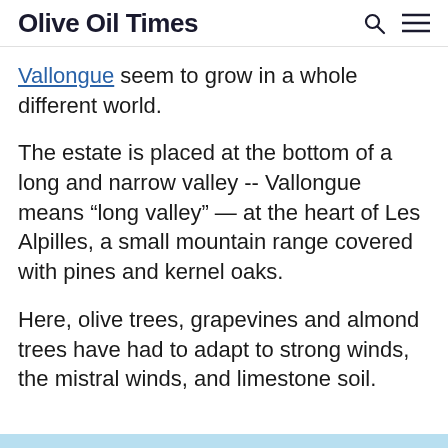Olive Oil Times
Vallongue seem to grow in a whole different world.
The estate is placed at the bottom of a long and narrow valley -- Vallongue means “long valley” — at the heart of Les Alpilles, a small mountain range covered with pines and kernel oaks.
Here, olive trees, grapevines and almond trees have had to adapt to strong winds, the mistral winds, and limestone soil.